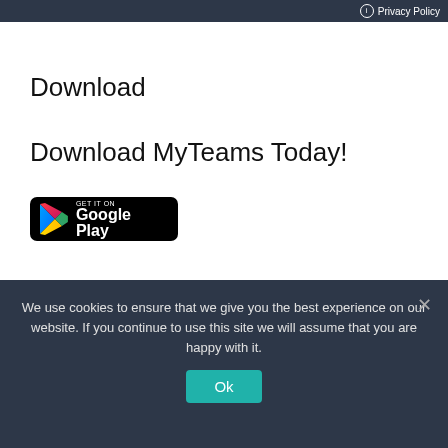Privacy Policy
Download
Download MyTeams Today!
[Figure (logo): Google Play Store download badge button with play triangle icon and text 'GET IT ON Google Play' on black rounded rectangle background]
Entertainment articles
StockNews.com Lowers Winmark
We use cookies to ensure that we give you the best experience on our website. If you continue to use this site we will assume that you are happy with it.